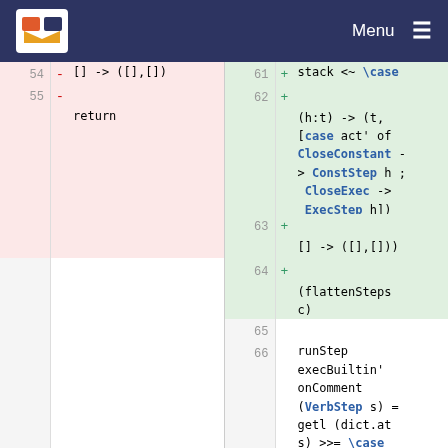Menu
[Figure (screenshot): Code diff view showing Haskell source code with removed (pink) and added (green) lines. Left side shows lines 54-57 with removals, right side shows lines 61-66 with additions. Code includes pattern matching with case expressions and functions like runStep, execBuiltin, onComment, VerbStep, flattenSteps.]